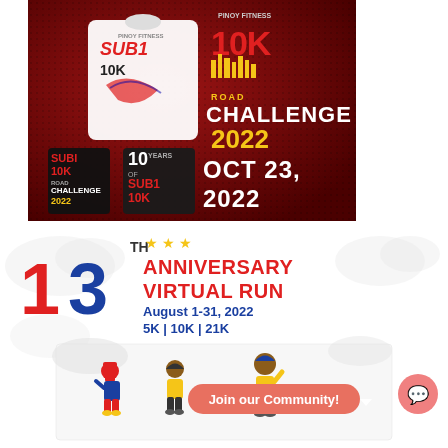[Figure (photo): Pinoy Fitness SUB1 10K Road Challenge 2022 promotional banner showing t-shirt, medals, and event date OCT 23, 2022 on dark red textured background]
[Figure (infographic): 13th Anniversary Virtual Run banner, August 1-31, 2022, 5K | 10K | 21K, with illustrated runners and Join our Community button]